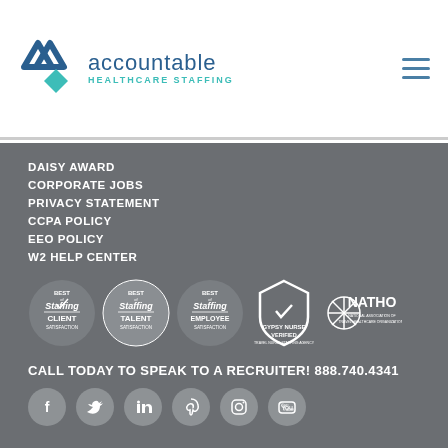[Figure (logo): Accountable Healthcare Staffing logo with chevron icon and teal diamond, text reads 'accountable HEALTHCARE STAFFING']
[Figure (other): Hamburger menu icon (three horizontal lines)]
DAISY AWARD
CORPORATE JOBS
PRIVACY STATEMENT
CCPA POLICY
EEO POLICY
W2 HELP CENTER
[Figure (logo): Five certification/award badges: Best Staffing Client Satisfaction, Best Staffing Talent Satisfaction, Best Staffing Employee Satisfaction, Gypsy Nurse Verified Travel Nurse Staffing Agency, NATHO National Association of Travel Healthcare Organizations]
CALL TODAY TO SPEAK TO A RECRUITER! 888.740.4341
[Figure (other): Six social media icons in circles: Facebook, Twitter, LinkedIn, Pinterest, Instagram, YouTube]